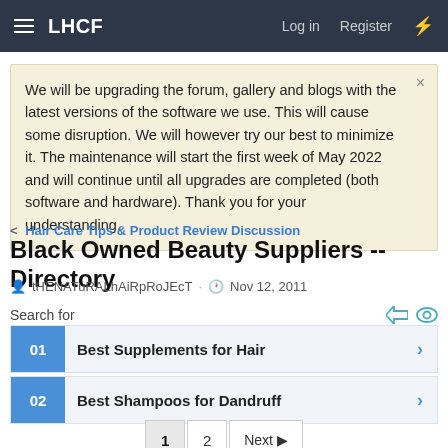LHCF  Log in  Register
We will be upgrading the forum, gallery and blogs with the latest versions of the software we use. This will cause some disruption. We will however try our best to minimize it. The maintenance will start the first week of May 2022 and will continue until all upgrades are completed (both software and hardware). Thank you for your understanding.
Hair Care Tips & Product Review Discussion
Black Owned Beauty Suppliers -- Directory
tHENATuRALhAiRpRoJEcT · Nov 12, 2011
Search for
01 Best Supplements for Hair
02 Best Shampoos for Dandruff
1  2  Next